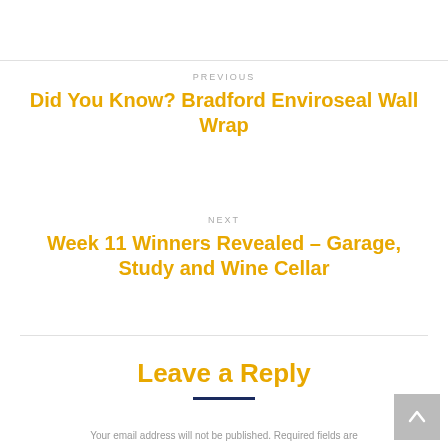PREVIOUS
Did You Know? Bradford Enviroseal Wall Wrap
NEXT
Week 11 Winners Revealed – Garage, Study and Wine Cellar
Leave a Reply
Your email address will not be published. Required fields are